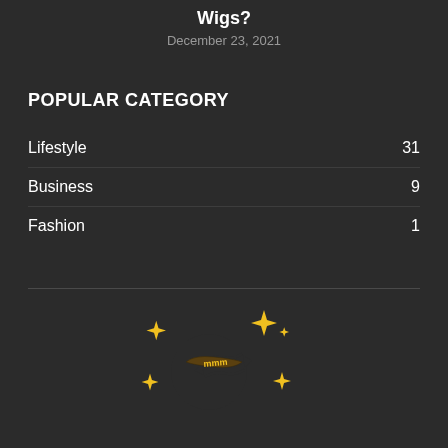Wigs?
December 23, 2021
POPULAR CATEGORY
Lifestyle 31
Business 9
Fashion 1
[Figure (logo): Crescent moon logo in yellow with sparkle stars and stylized text inside the moon]